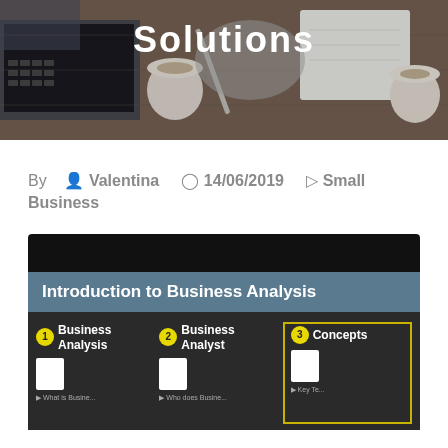[Figure (photo): Overhead photo of a wooden desk with a laptop, coffee cup, notebook, pen, and someone in a grey sweater working. The word 'Solutions' appears in white bold text overlaid at the top center.]
By  👤 Valentina  ⏰ 14/06/2019 🏷 Small Business
[Figure (infographic): Introduction to Business Analysis infographic on dark background. Shows three numbered sections: 1. Business Analysis, 2. Business Analyst, 3. Concepts. Each with a white rectangle icon and partial sub-items visible at bottom.]